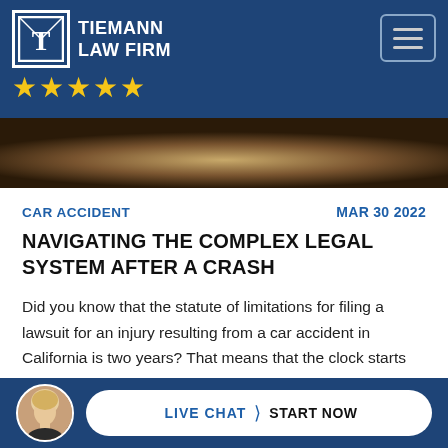[Figure (logo): Tiemann Law Firm logo with T emblem, firm name, and five gold stars]
[Figure (photo): Close-up photo of a wooden surface, partial hero image at top of article]
CAR ACCIDENT
MAR 30 2022
NAVIGATING THE COMPLEX LEGAL SYSTEM AFTER A CRASH
Did you know that the statute of limitations for filing a lawsuit for an injury resulting from a car accident in California is two years? That means that the clock starts ticking on the day of the accident and if you do not file a claim for an accident injury by the deadline your case...
[Figure (photo): Live chat button with avatar photo of a woman, LIVE CHAT > START NOW call to action button on dark blue bar]